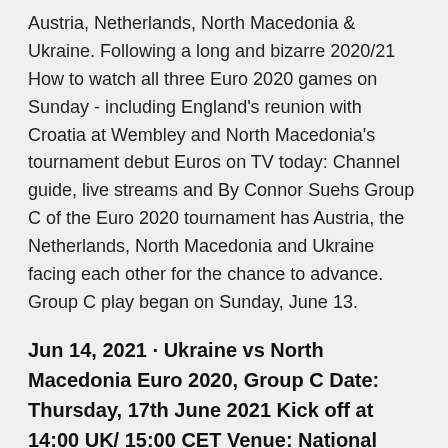Austria, Netherlands, North Macedonia & Ukraine. Following a long and bizarre 2020/21 How to watch all three Euro 2020 games on Sunday - including England's reunion with Croatia at Wembley and North Macedonia's tournament debut Euros on TV today: Channel guide, live streams and By Connor Suehs Group C of the Euro 2020 tournament has Austria, the Netherlands, North Macedonia and Ukraine facing each other for the chance to advance. Group C play began on Sunday, June 13.
Jun 14, 2021 · Ukraine vs North Macedonia Euro 2020, Group C Date: Thursday, 17th June 2021 Kick off at 14:00 UK/ 15:00 CET Venue: National Arena (Bucharest). This will be a must win game for both of these